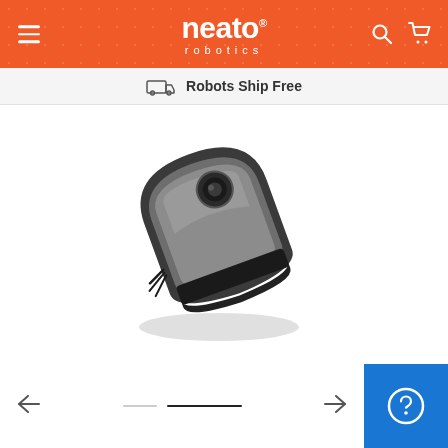Neato Robotics — navigation header with hamburger menu, logo, search and cart icons
Robots Ship Free
[Figure (photo): Neato robot vacuum cleaner, black and silver D-shaped design, angled view against white background]
[Figure (other): Image carousel navigation: left arrow, inactive dot, active bar indicator, right arrow; and blue help/chat button on right]